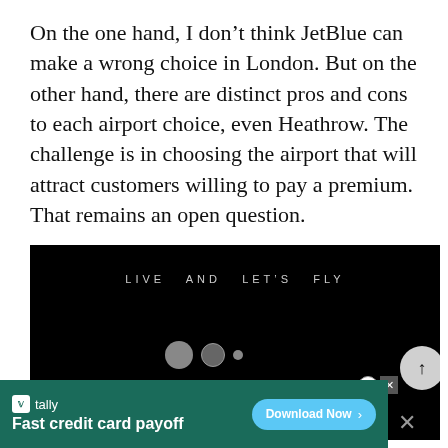On the one hand, I don't think JetBlue can make a wrong choice in London. But on the other hand, there are distinct pros and cons to each airport choice, even Heathrow. The challenge is in choosing the airport that will attract customers willing to pay a premium. That remains an open question.
[Figure (screenshot): Black video player screen with 'LIVE AND LET'S FLY' text in spaced letters near the top, three loading dots below, and a scroll-to-top button on the right edge.]
[Figure (screenshot): Tally advertisement banner with green background reading 'Fast credit card payoff' and a 'Download Now' button in blue.]